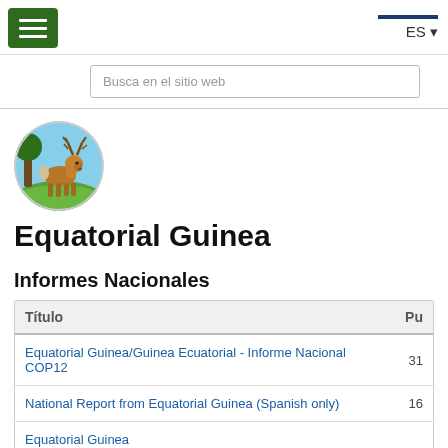ES
Busca en el sitio web
[Figure (photo): Circular logo with a deer/stag standing in a green meadow with blue sky background]
Equatorial Guinea
Informes Nacionales
| Título | Pu |
| --- | --- |
| Equatorial Guinea/Guinea Ecuatorial - Informe Nacional COP12 | 31 |
| National Report from Equatorial Guinea (Spanish only) | 16 |
| Equatorial Guinea |  |